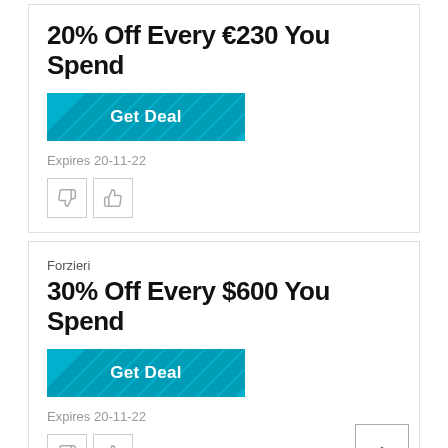20% Off Every €230 You Spend
[Figure (other): Teal striped Get Deal button]
Expires 20-11-22
[Figure (other): Thumbs down and thumbs up vote buttons]
Forzieri
30% Off Every $600 You Spend
[Figure (other): Teal striped Get Deal button]
Expires 20-11-22
[Figure (other): Thumbs down and thumbs up vote buttons]
Forzieri
25% Off €395